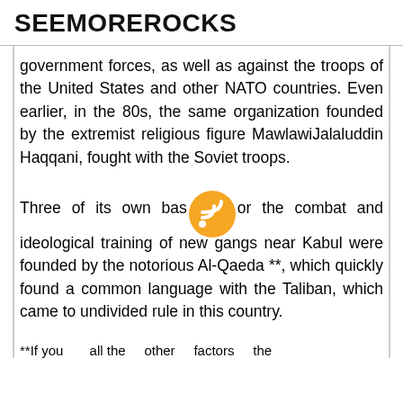SEEMOREROCKS
government forces, as well as against the troops of the United States and other NATO countries. Even earlier, in the 80s, the same organization founded by the extremist religious figure MawlawiJalaluddin Haqqani, fought with the Soviet troops.
Three of its own bases for the combat and ideological training of new gangs near Kabul were founded by the notorious Al-Qaeda **, which quickly found a common language with the Taliban, which came to undivided rule in this country.
**If you ... all the ... other ... factors ... the ...